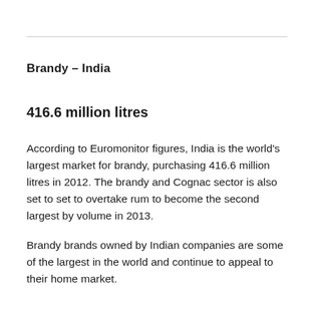Brandy – India
416.6 million litres
According to Euromonitor figures, India is the world's largest market for brandy, purchasing 416.6 million litres in 2012. The brandy and Cognac sector is also set to set to overtake rum to become the second largest by volume in 2013.
Brandy brands owned by Indian companies are some of the largest in the world and continue to appeal to their home market.